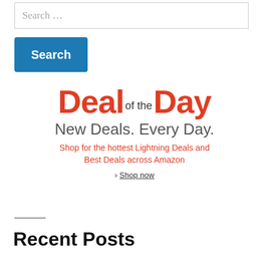Search …
[Figure (screenshot): Blue Search button]
[Figure (illustration): Deal of the Day banner: large orange text 'Deal of the Day', gray text 'New Deals. Every Day.', orange text 'Shop for the hottest Lightning Deals and Best Deals across Amazon', link '› Shop now']
Recent Posts